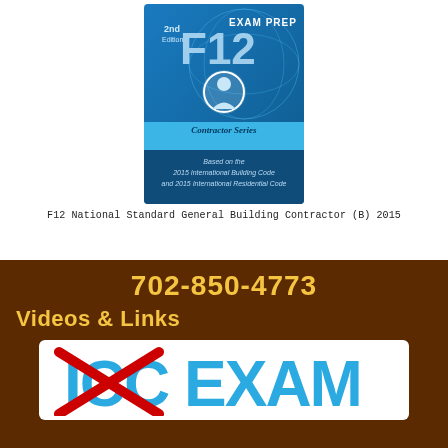[Figure (illustration): Book cover for F12 Exam Prep, Contractor Series, 2nd Edition, based on the 2015 International Building Code and 2015 International Residential Code. Blue cover with globe graphic and contractor figure.]
F12 National Standard General Building Contractor (B) 2015
702-850-4773
Videos & Links
[Figure (logo): ICC EXAM logo in bold blue letters with a red cross-out slash symbol over the letters ICC]